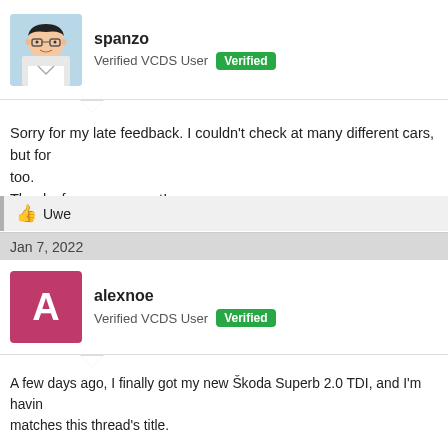[Figure (illustration): Avatar of user spanzo — cartoon character with glasses]
spanzo
Verified VCDS User  Verified
Sorry for my late feedback. I couldn't check at many different cars, but for too.
Thanks for your support!
Uwe
Jan 7, 2022
[Figure (illustration): Avatar of user alexnoe — pink square with letter A]
alexnoe
Verified VCDS User  Verified
A few days ago, I finally got my new Škoda Superb 2.0 TDI, and I'm having matches this thread's title.

After doing an auto scan, VCDS Mobile told me that it needed to download phone with tethering, so that the HEX-NET could access internet via 5G o 1007 kB of data and extracted some 80 files. Then, I tried to access the e needed to download ASAM data, downloaded 1007 kB of data, extracted no ASAM data. The dataset that is mentioned in the auto scan ("EV_ECM